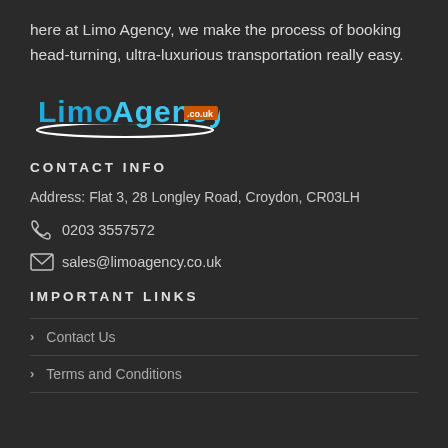here at Limo Agency, we make the process of booking head-turning, ultra-luxurious transportation really easy.
[Figure (logo): LimoAgency.co.uk logo with blue stylized text and white swoosh underline]
CONTACT INFO
Address: Flat 3, 28 Longley Road, Croydon, CR03LH
0203 3557572
sales@limoagency.co.uk
IMPORTANT LINKS
Contact Us
Terms and Conditions